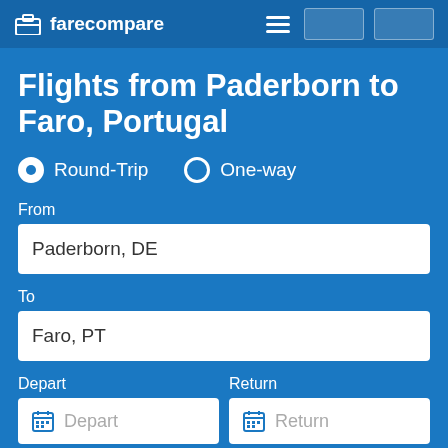farecompare
Flights from Paderborn to Faro, Portugal
Round-Trip   One-way
From
Paderborn, DE
To
Faro, PT
Depart   Return
1 traveler
Nonstop